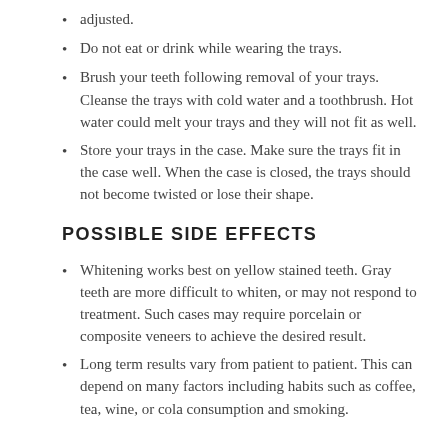adjusted.
Do not eat or drink while wearing the trays.
Brush your teeth following removal of your trays. Cleanse the trays with cold water and a toothbrush. Hot water could melt your trays and they will not fit as well.
Store your trays in the case. Make sure the trays fit in the case well. When the case is closed, the trays should not become twisted or lose their shape.
POSSIBLE SIDE EFFECTS
Whitening works best on yellow stained teeth. Gray teeth are more difficult to whiten, or may not respond to treatment. Such cases may require porcelain or composite veneers to achieve the desired result.
Long term results vary from patient to patient. This can depend on many factors including habits such as coffee, tea, wine, or cola consumption and smoking.